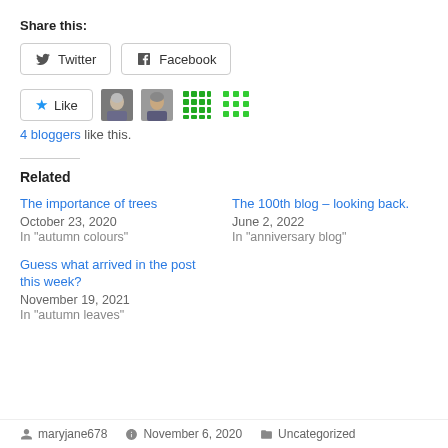Share this:
Twitter | Facebook
[Figure (other): Like button with star icon and 4 blogger avatars (two photos, two green pattern icons)]
4 bloggers like this.
Related
The importance of trees
October 23, 2020
In "autumn colours"
The 100th blog – looking back.
June 2, 2022
In "anniversary blog"
Guess what arrived in the post this week?
November 19, 2021
In "autumn leaves"
maryjane678   November 6, 2020   Uncategorized